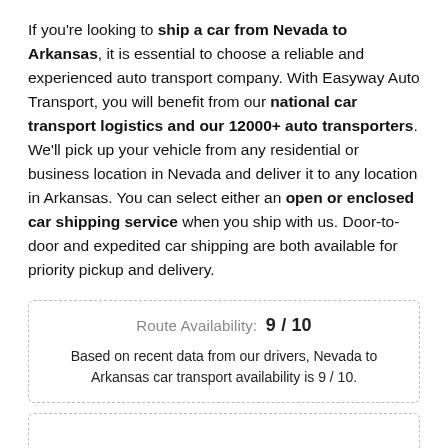If you're looking to ship a car from Nevada to Arkansas, it is essential to choose a reliable and experienced auto transport company. With Easyway Auto Transport, you will benefit from our national car transport logistics and our 12000+ auto transporters. We'll pick up your vehicle from any residential or business location in Nevada and deliver it to any location in Arkansas. You can select either an open or enclosed car shipping service when you ship with us. Door-to-door and expedited car shipping are both available for priority pickup and delivery.
| Route Availability: 9 / 10 |
| Based on recent data from our drivers, Nevada to Arkansas car transport availability is 9 / 10. |